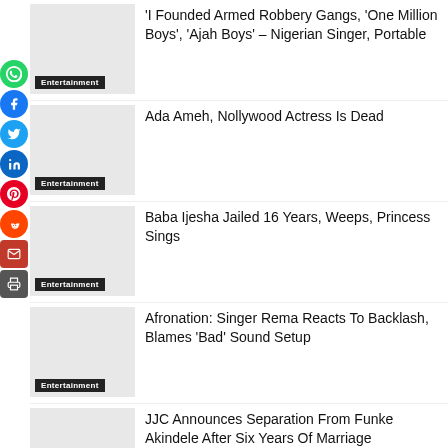[Figure (other): Social media sharing icons bar on left side: WhatsApp, Facebook, Twitter, LinkedIn, Pinterest, Reddit, Email, Print]
'I Founded Armed Robbery Gangs, 'One Million Boys', 'Ajah Boys' – Nigerian Singer, Portable
Ada Ameh, Nollywood Actress Is Dead
Baba Ijesha Jailed 16 Years, Weeps, Princess Sings
Afronation: Singer Rema Reacts To Backlash, Blames 'Bad' Sound Setup
JJC Announces Separation From Funke Akindele After Six Years Of Marriage